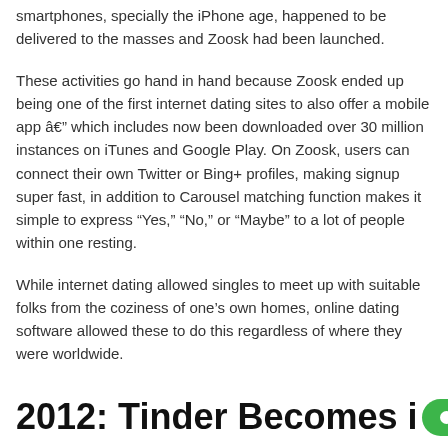smartphones, specially the iPhone age, happened to be delivered to the masses and Zoosk had been launched.
These activities go hand in hand because Zoosk ended up being one of the first internet dating sites to also offer a mobile app â which includes now been downloaded over 30 million instances on iTunes and Google Play. On Zoosk, users can connect their own Twitter or Bing+ profiles, making signup super fast, in addition to Carousel matching function makes it simple to express “Yes,” “No,” or “Maybe” to a lot of people within one resting.
While internet dating allowed singles to meet up with suitable folks from the coziness of one’s own homes, online dating software allowed these to do this regardless of where they were worldwide.
2012: Tinder Becomes i...